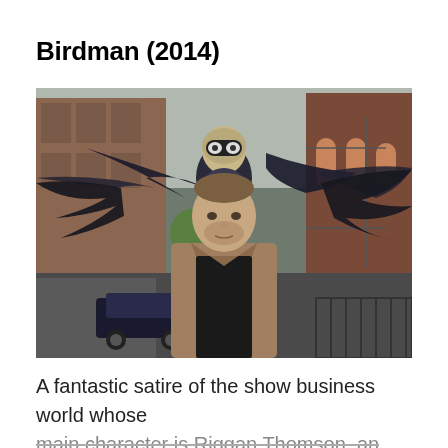Birdman (2014)
[Figure (photo): Movie still from Birdman (2014): A man in a tan jacket stands on a New York City street, with a large bird-costumed superhero figure with wide dark wings visible behind him. Urban buildings and a car are visible in the background.]
A fantastic satire of the show business world whose main character is Riggan Thomson, an actor who everyone has seen for years solely as Birdman's